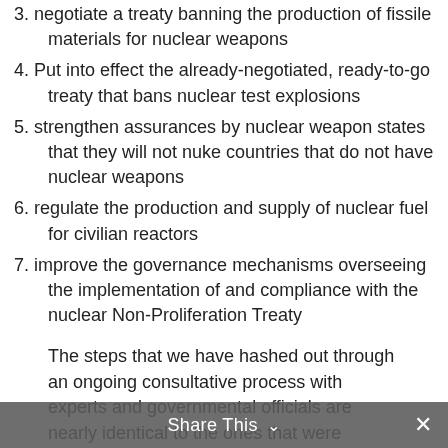3. negotiate a treaty banning the production of fissile materials for nuclear weapons
4. Put into effect the already-negotiated, ready-to-go treaty that bans nuclear test explosions
5. strengthen assurances by nuclear weapon states that they will not nuke countries that do not have nuclear weapons
6. regulate the production and supply of nuclear fuel for civilian reactors
7. improve the governance mechanisms overseeing the implementation of and compliance with the nuclear Non-Proliferation Treaty
The steps that we have hashed out through an ongoing consultative process with experts and governmental officials are nearly identical to the ones that were identified in those much heralded, oft-cited Wall Street Journal op/eds by the former cold warriors.
Share This ∨  ✕